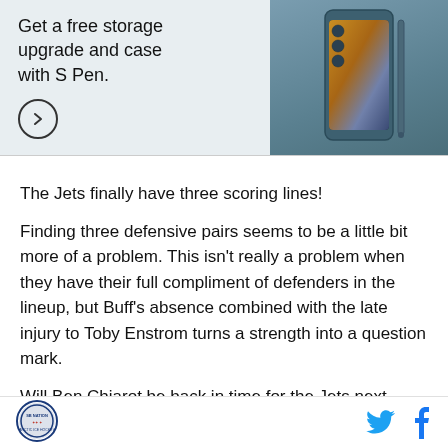[Figure (photo): Samsung Galaxy Z Fold4 advertisement banner showing phone with S Pen, teal/blue color, with text: Get a free storage upgrade and case with S Pen.]
The Jets finally have three scoring lines!
Finding three defensive pairs seems to be a little bit more of a problem. This isn't really a problem when they have their full compliment of defenders in the lineup, but Buff's absence combined with the late injury to Toby Enstrom turns a strength into a question mark.
Will Ben Chiarot be back in time for the Jets next